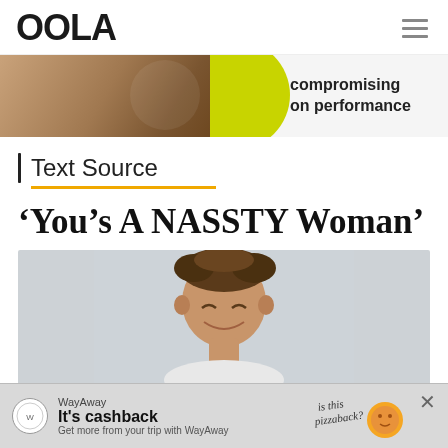OOLA
[Figure (photo): Advertisement banner showing a hand holding something against a yellow-green circle background with text 'compromising on performance']
| Text Source
‘You’s A NASSTY Woman’
[Figure (photo): Photo of a young man with messy brown hair, smiling/squinting, against a light gray background]
[Figure (photo): WayAway advertisement: It's cashback. Get more from your trip with WayAway. With pizza illustration.]